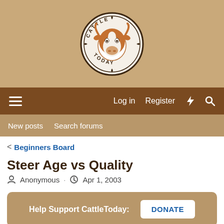[Figure (logo): CattleToday website logo — circular badge with a brown/white cow head illustration and text 'CATTLE TODAY' around the border]
Log in  Register  [lightning] [search]
New posts  Search forums
< Beginners Board
Steer Age vs Quality
Anonymous · Apr 1, 2003
Help Support CattleToday:  DONATE
Apr 1, 2003  #1
Anonymous